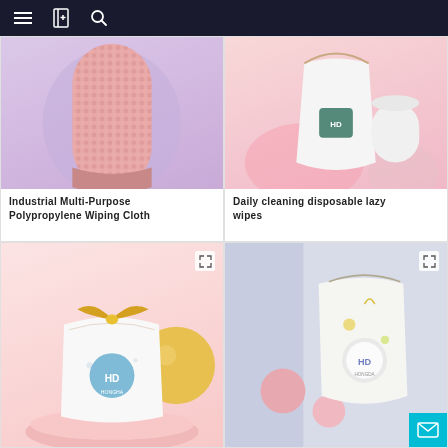Navigation bar with menu, bookmark, and search icons
[Figure (photo): Pink/red coral-textured cylindrical roll of industrial polypropylene wiping cloth on a lavender background]
Industrial Multi-Purpose Polypropylene Wiping Cloth
[Figure (photo): White drawstring pouch with brand logo containing disposable wipes and a white roll on a pink background]
Daily cleaning disposable lazy wipes
[Figure (photo): White gift-wrapped package with gold ribbon bow, heart-shaped blue logo label, on a pink platform with golden sphere]
[Figure (photo): White drawstring pouch with floral print and brand logo on a lavender/purple background with pink spheres]